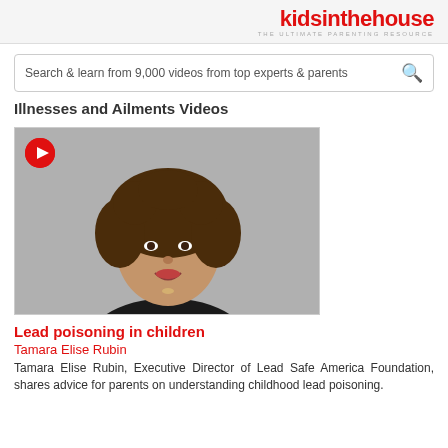kidsinthehouse THE ULTIMATE PARENTING RESOURCE
Search & learn from 9,000 videos from top experts & parents
Illnesses and Ailments Videos
[Figure (photo): A woman with curly brown hair wearing a black top, photographed against a white background. A red play button is overlaid in the top-left corner of the video thumbnail.]
Lead poisoning in children
Tamara Elise Rubin
Tamara Elise Rubin, Executive Director of Lead Safe America Foundation, shares advice for parents on understanding childhood lead poisoning.